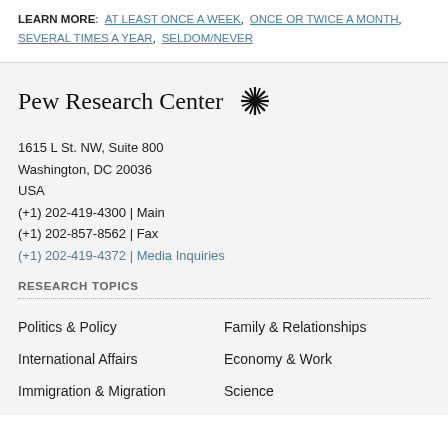LEARN MORE: AT LEAST ONCE A WEEK, ONCE OR TWICE A MONTH, SEVERAL TIMES A YEAR, SELDOM/NEVER
Pew Research Center
1615 L St. NW, Suite 800
Washington, DC 20036
USA
(+1) 202-419-4300 | Main
(+1) 202-857-8562 | Fax
(+1) 202-419-4372 | Media Inquiries
RESEARCH TOPICS
Politics & Policy
Family & Relationships
International Affairs
Economy & Work
Immigration & Migration
Science